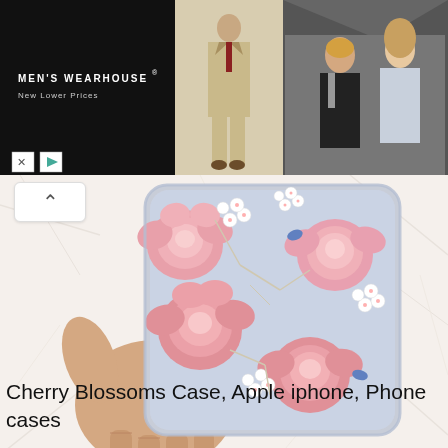[Figure (photo): Men's Wearhouse advertisement banner with black left panel showing logo and 'New Lower Prices' tagline, center panel showing a man in a tan suit, and right panel showing a couple in formal wear]
[Figure (photo): Hand holding an iPhone with a floral Cherry Blossoms phone case featuring pink roses and small white flowers on a light blue/grey transparent background, placed on white fur surface]
Cherry Blossoms Case, Apple iphone, Phone cases